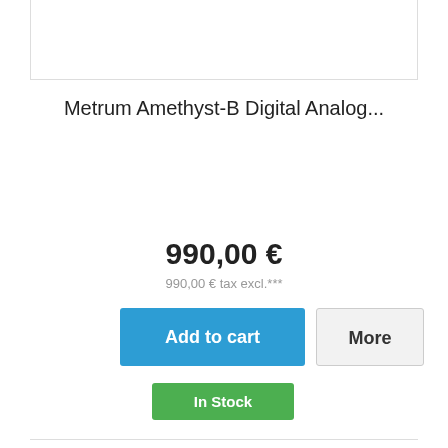[Figure (photo): Product image box (top), white with border]
Metrum Amethyst-B Digital Analog...
990,00 €
990,00 € tax excl.***
[Figure (other): Add to cart blue button]
[Figure (other): More grey button]
[Figure (other): In Stock green button]
♡ Add to Wishlist
+ Add to Compare
[Figure (photo): Bottom product image box, white with border]